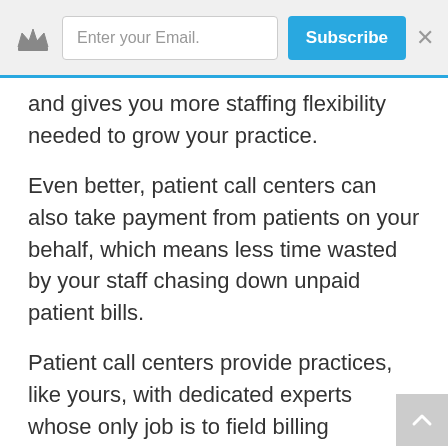Enter your Email. | Subscribe | ×
and gives you more staffing flexibility needed to grow your practice.
Even better, patient call centers can also take payment from patients on your behalf, which means less time wasted by your staff chasing down unpaid patient bills.
Patient call centers provide practices, like yours, with dedicated experts whose only job is to field billing inquiries, take payment, and mediate defaulted accounts. This can give your organization room to grow, eliminate internal